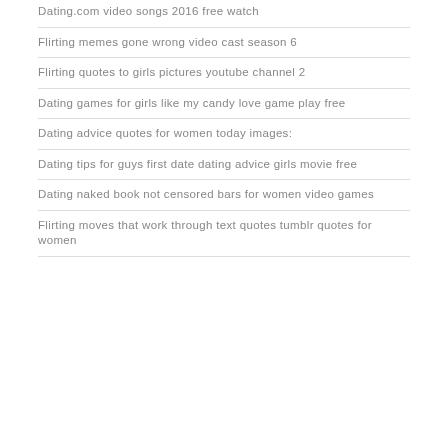Dating.com video songs 2016 free watch
Flirting memes gone wrong video cast season 6
Flirting quotes to girls pictures youtube channel 2
Dating games for girls like my candy love game play free
Dating advice quotes for women today images:
Dating tips for guys first date dating advice girls movie free
Dating naked book not censored bars for women video games
Flirting moves that work through text quotes tumblr quotes for women